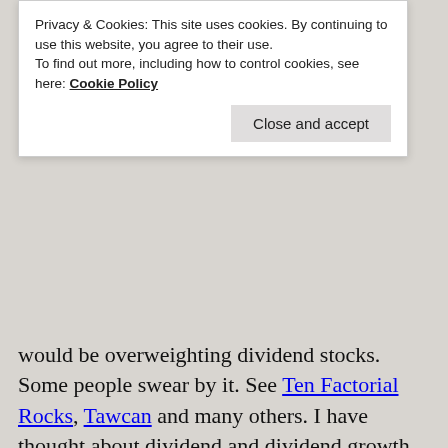Privacy & Cookies: This site uses cookies. By continuing to use this website, you agree to their use.
To find out more, including how to control cookies, see here: Cookie Policy
Close and accept
would be overweighting dividend stocks. Some people swear by it. See Ten Factorial Rocks, Tawcan and many others. I have thought about dividend and dividend growth investing myself but never actually pulled the trigger. My concern is that styles go in and out of fashion and any excess return we might have observed in the past can quickly be arbitraged away in the future, especially considering the growing specialty ETF industry that jumps at the opportunity of offering the next hot style.
So, what’s the verdict? Sure, the value and small-cap